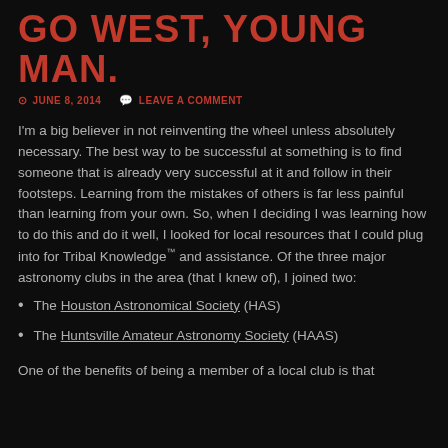GO WEST, YOUNG MAN.
JUNE 8, 2014   LEAVE A COMMENT
I'm a big believer in not reinventing the wheel unless absolutely necessary. The best way to be successful at something is to find someone that is already very successful at it and follow in their footsteps. Learning from the mistakes of others is far less painful than learning from your own. So, when I deciding I was learning how to do this and do it well, I looked for local resources that I could plug into for Tribal Knowledge™ and assistance. Of the three major astronomy clubs in the area (that I knew of), I joined two:
The Houston Astronomical Society (HAS)
The Huntsville Amateur Astronomy Society (HAAS)
One of the benefits of being a member of a local club is that